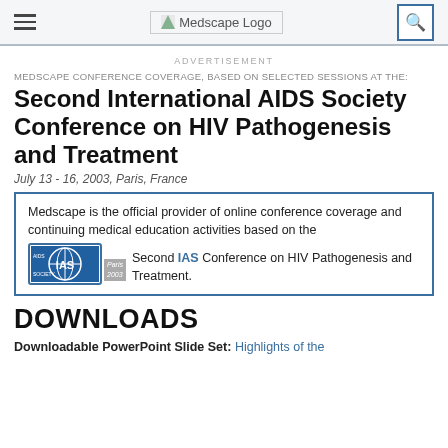Medscape Logo
ADVERTISEMENT
MEDSCAPE CONFERENCE COVERAGE, BASED ON SELECTED SESSIONS AT THE:
Second International AIDS Society Conference on HIV Pathogenesis and Treatment
July 13 - 16, 2003, Paris, France
Medscape is the official provider of online conference coverage and continuing medical education activities based on the Second IAS Conference on HIV Pathogenesis and Treatment.
DOWNLOADS
Downloadable PowerPoint Slide Set: Highlights of the